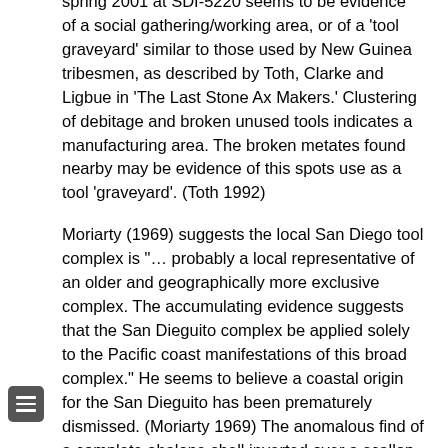spring 2001 at SDI-5220 seems to be evidence of a social gathering/working area, or of a 'tool graveyard' similar to those used by New Guinea tribesmen, as described by Toth, Clarke and Ligbue in 'The Last Stone Ax Makers.' Clustering of debitage and broken unused tools indicates a manufacturing area. The broken metates found nearby may be evidence of this spots use as a tool 'graveyard'. (Toth 1992)
Moriarty (1969) suggests the local San Diego tool complex is "… probably a local representative of an older and geographically more exclusive complex. The accumulating evidence suggests that the San Dieguito complex be applied solely to the Pacific coast manifestations of this broad complex." He seems to believe a coastal origin for the San Dieguito has been prematurely dismissed. (Moriarty 1969) The anomalous find of a complete abalone shell inverted over a scallop shell from the Gulf of California at SDI-5220 bears a strong resemblance to a ceremony of appropriation of territory by Polynesian peoples. The coastal question is not closed. (Kirch 2001)
Anomalous Data: